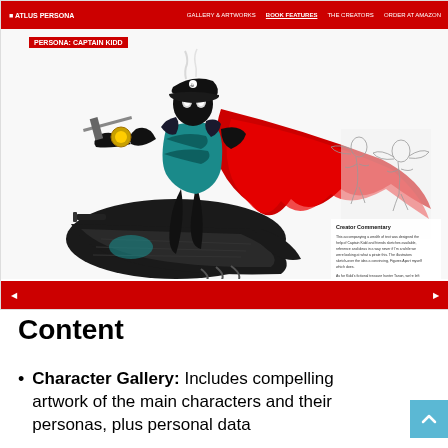[Figure (screenshot): Screenshot of a webpage showing a video game art book page featuring 'Persona: Captain Kidd' — a dramatic illustration of a dark-armored pirate character with a sweeping red cloak, standing on a ship's bow, with sketch artwork and creator commentary text in the right panel. The page has a red navigation bar at top and bottom.]
Content
Character Gallery: Includes compelling artwork of the main characters and their personas, plus personal data cards for each one, in English, ...